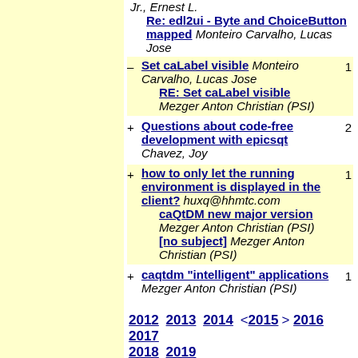Jr., Ernest L.
    Re: edl2ui - Byte and ChoiceButton mapped Monteiro Carvalho, Lucas Jose
– Set caLabel visible Monteiro Carvalho, Lucas Jose
    RE: Set caLabel visible Mezger Anton Christian (PSI)
+ Questions about code-free development with epicsqt Chavez, Joy
+ how to only let the running environment is displayed in the client? huxq@hhmtc.com
  caQtDM new major version Mezger Anton Christian (PSI)
  [no subject] Mezger Anton Christian (PSI)
+ caqtdm "intelligent" applications Mezger Anton Christian (PSI)
2012 2013 2014 <2015> 2016 2017 2018 2019